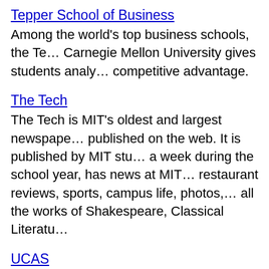Tepper School of Business
Among the world's top business schools, the Tepper School of Business at Carnegie Mellon University gives students analytical tools to gain a competitive advantage.
The Tech
The Tech is MIT's oldest and largest newspaper, and is also published on the web. It is published by MIT students twice a week during the school year, has news at MIT, restaurant reviews, sports, campus life, photos, and includes all the works of Shakespeare, Classical Literature...
UCAS
UCAS is the central organisation that processes applications for undergraduate courses at UK universities and colleges. Includes listing of the UK colleges it serves, costs, the process, and more.